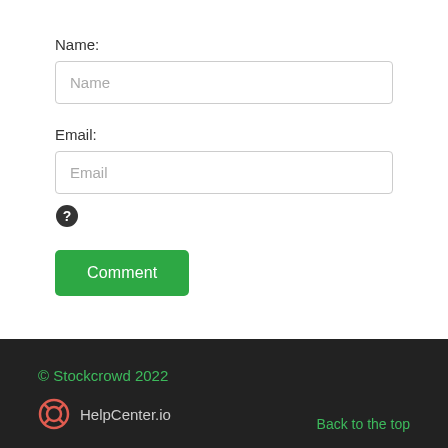Name:
Name
Email:
Email
[Figure (other): Question mark help icon — dark circle with white question mark]
Comment
© Stockcrowd 2022
HelpCenter.io
Back to the top